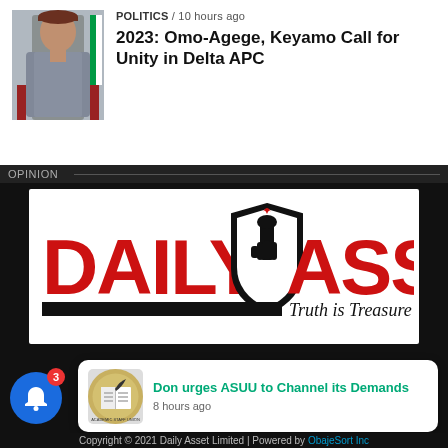[Figure (photo): Thumbnail photo of a man in grey traditional Nigerian attire seated in a red chair with a Nigerian flag in the background]
POLITICS / 10 hours ago
2023: Omo-Agege, Keyamo Call for Unity in Delta APC
[Figure (logo): Daily Asset newspaper logo in red bold text with a shield/torch emblem in the center and tagline 'Truth is Treasure']
X
[Figure (logo): ASUU (Academic Staff Union of Universities) circular logo thumbnail]
Don urges ASUU to Channel its Demands
8 hours ago
Copyright © 2021 Daily Asset Limited | Powered by ObajeSort Inc